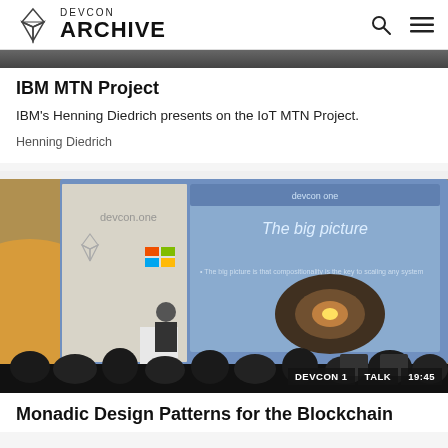DEVCON ARCHIVE
[Figure (photo): Partial conference presentation image at top of first card]
IBM MTN Project
IBM's Henning Diedrich presents on the IoT MTN Project.
Henning Diedrich
[Figure (photo): Conference presentation photo showing speaker at podium with slide reading 'The big picture' and subtitle 'The big picture is that compositionality is the key to scaling any system'. Tags: DEVCON 1, TALK, 19:45]
Monadic Design Patterns for the Blockchain